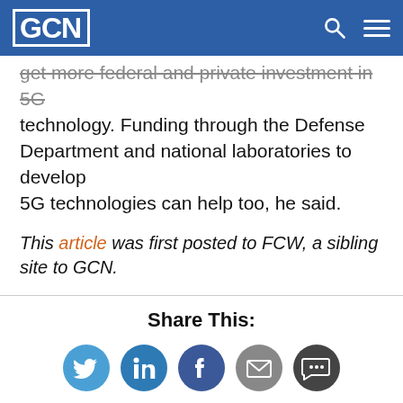GCN
get more federal and private investment in 5G technology. Funding through the Defense Department and national laboratories to develop 5G technologies can help too, he said.
This article was first posted to FCW, a sibling site to GCN.
Share This:
[Figure (infographic): Social sharing icons: Twitter, LinkedIn, Facebook, Email, Comments]
NEXT STORY: Elections can't be secured by funding alone
[Figure (photo): Three thumbnail images at the bottom of the page]